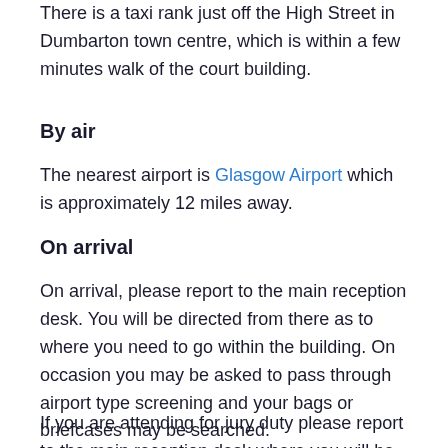There is a taxi rank just off the High Street in Dumbarton town centre, which is within a few minutes walk of the court building.
By air
The nearest airport is Glasgow Airport which is approximately 12 miles away.
On arrival
On arrival, please report to the main reception desk. You will be directed from there as to where you need to go within the building. On occasion you may be asked to pass through airport type screening and your bags or briefcases may be searched.
If you are attending for jury duty please report to the main reception desk where you will be directed to a court or